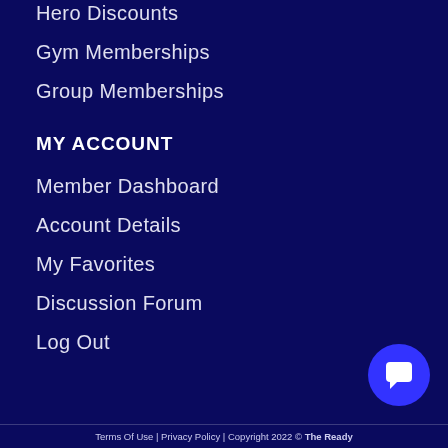Hero Discounts
Gym Memberships
Group Memberships
MY ACCOUNT
Member Dashboard
Account Details
My Favorites
Discussion Forum
Log Out
Terms Of Use | Privacy Policy | Copyright 2022 © The Ready